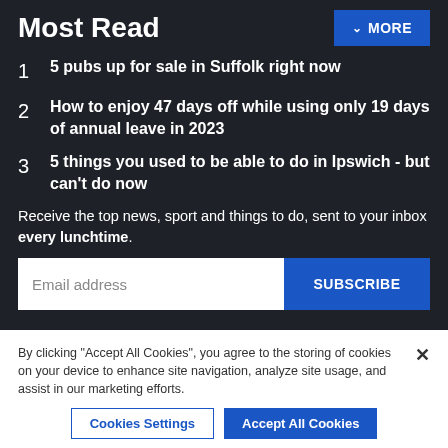Most Read
1  5 pubs up for sale in Suffolk right now
2  How to enjoy 47 days off while using only 19 days of annual leave in 2023
3  5 things you used to be able to do in Ipswich - but can't do now
Receive the top news, sport and things to do, sent to your inbox every lunchtime.
By clicking "Accept All Cookies", you agree to the storing of cookies on your device to enhance site navigation, analyze site usage, and assist in our marketing efforts.
Cookies Settings
Accept All Cookies